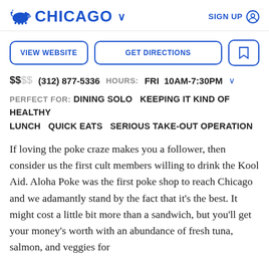CHICAGO
VIEW WEBSITE
GET DIRECTIONS
$$SS  (312) 877-5336  HOURS: FRI 10AM-7:30PM
PERFECT FOR: DINING SOLO  KEEPING IT KIND OF HEALTHY  LUNCH  QUICK EATS  SERIOUS TAKE-OUT OPERATION
If loving the poke craze makes you a follower, then consider us the first cult members willing to drink the Kool Aid. Aloha Poke was the first poke shop to reach Chicago and we adamantly stand by the fact that it's the best. It might cost a little bit more than a sandwich, but you'll get your money's worth with an abundance of fresh tuna, salmon, and veggies for